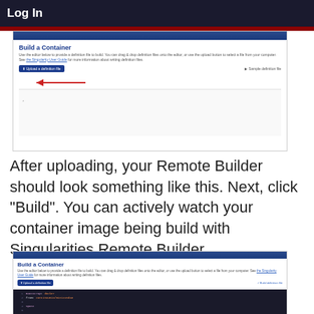Log In
[Figure (screenshot): Screenshot of 'Build a Container' web interface showing upload button and red arrow pointing to it, with empty editor area below]
After uploading, your Remote Builder should look something like this. Next, click “Build”. You can actively watch your container image being build with Singularities Remote Builder.
[Figure (screenshot): Screenshot of 'Build a Container' web interface showing a definition file loaded in the dark editor with code content including Bootstrap, post sections, conda commands and other shell commands]